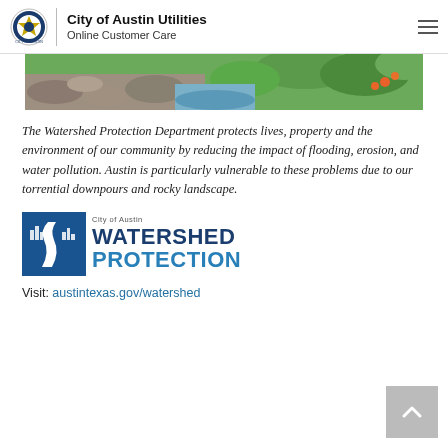City of Austin Utilities Online Customer Care
[Figure (photo): Landscape banner image showing rocky creek bed and green vegetation]
The Watershed Protection Department protects lives, property and the environment of our community by reducing the impact of flooding, erosion, and water pollution. Austin is particularly vulnerable to these problems due to our torrential downpours and rocky landscape.
[Figure (logo): City of Austin Watershed Protection logo with blue building/river icon and bold text reading WATERSHED PROTECTION]
Visit: austintexas.gov/watershed